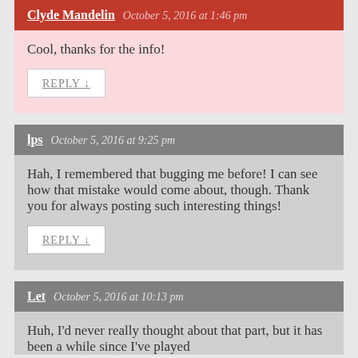Clyde Mandelin — October 5, 2016 at 1:46 pm
Cool, thanks for the info!
REPLY ↓
lps — October 5, 2016 at 9:25 pm
Hah, I remembered that bugging me before! I can see how that mistake would come about, though. Thank you for always posting such interesting things!
REPLY ↓
Let — October 5, 2016 at 10:13 pm
Huh, I'd never really thought about that part, but it has been a while since I've played...